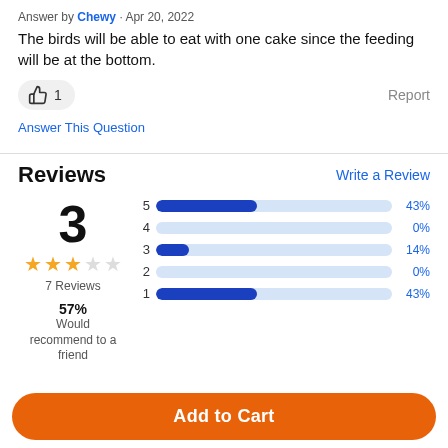Answer by Chewy · Apr 20, 2022
The birds will be able to eat with one cake since the feeding will be at the bottom.
👍 1    Report
Answer This Question
Reviews
Write a Review
[Figure (bar-chart): Rating distribution]
3
⭐⭐⭐☆☆
7 Reviews
57%
Would recommend to a friend
Add to Cart